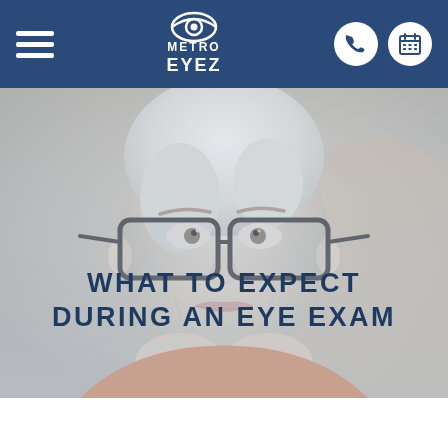Metro Eyez — navigation header with hamburger menu, logo, phone and calendar icons
[Figure (photo): Close-up photo of an older woman with short white/silver hair, wearing dark-rimmed rectangular glasses, looking upward and smiling, chin resting on her hands. The image has a soft, slightly desaturated look with warm background tones.]
WHAT TO EXPECT DURING AN EYE EXAM